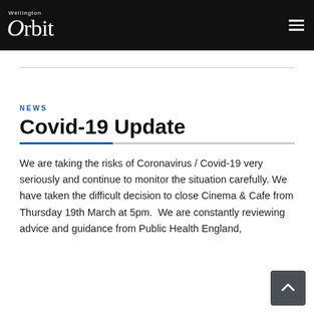Wellington Orbit
NEWS
Covid-19 Update
We are taking the risks of Coronavirus / Covid-19 very seriously and continue to monitor the situation carefully. We have taken the difficult decision to close Cinema & Cafe from Thursday 19th March at 5pm.  We are constantly reviewing advice and guidance from Public Health England,